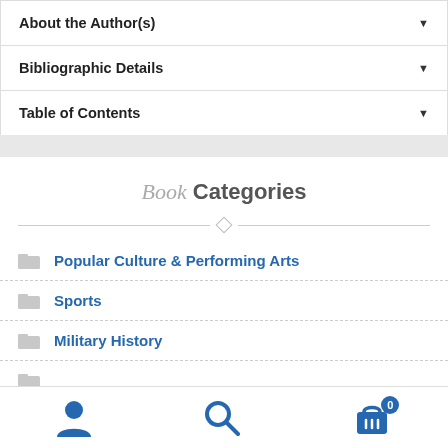About the Author(s) ▼
Bibliographic Details ▼
Table of Contents ▼
Book Categories
Popular Culture & Performing Arts
Sports
Military History
Navigation bar with user, search, and cart icons